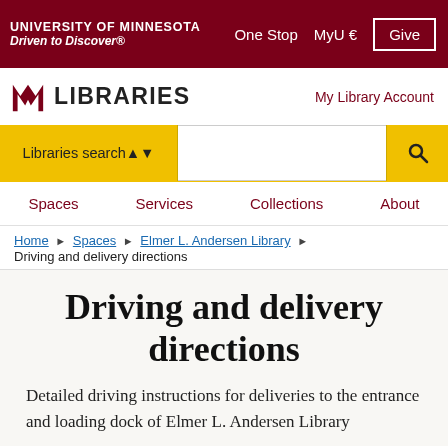UNIVERSITY OF MINNESOTA Driven to Discover® | One Stop | MyU | Give
LIBRARIES | My Library Account
Libraries search | [search input] | [search button]
Spaces | Services | Collections | About
Home ▶ Spaces ▶ Elmer L. Andersen Library ▶ Driving and delivery directions
Driving and delivery directions
Detailed driving instructions for deliveries to the entrance and loading dock of Elmer L. Andersen Library